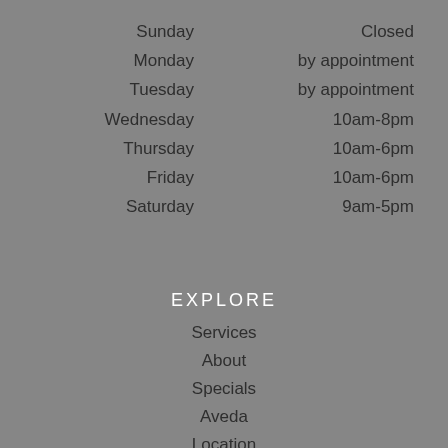| Day | Hours |
| --- | --- |
| Sunday | Closed |
| Monday | by appointment |
| Tuesday | by appointment |
| Wednesday | 10am-8pm |
| Thursday | 10am-6pm |
| Friday | 10am-6pm |
| Saturday | 9am-5pm |
EXPLORE
Services
About
Specials
Aveda
Location
Book Now
Gift Cards